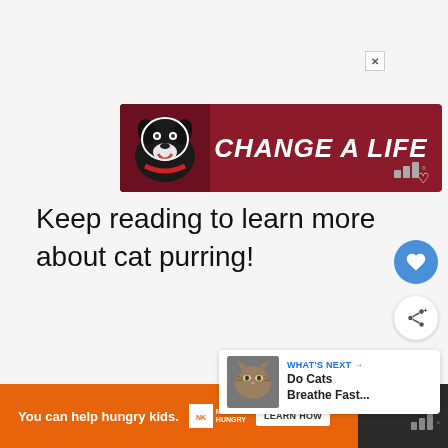[Figure (illustration): Advertisement banner with dark red background showing a black dog and the text 'CHANGE A LIFE' in bold white italic letters with a small heart icon]
Keep reading to learn more about cat purring!
[Figure (photo): Gray placeholder image area for a cat photo]
[Figure (infographic): What's Next panel showing a cat thumbnail and the text 'WHAT'S NEXT → Do Cats Breathe Fast...']
[Figure (illustration): Bottom orange advertisement bar: 'You can help hungry kids.' with No Kid Hungry logo and Learn How button]